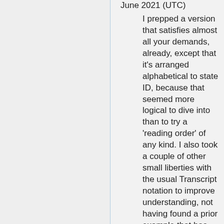June 2021 (UTC)
I prepped a version that satisfies almost all your demands, already, except that it's arranged alphabetical to state ID, because that seemed more logical to dive into than to try a 'reading order' of any kind. I also took a couple of other small liberties with the usual Transcript notation to improve understanding, not having found a prior example that has done this in a 'better' way. I'll pop it in right now and then leave it to the